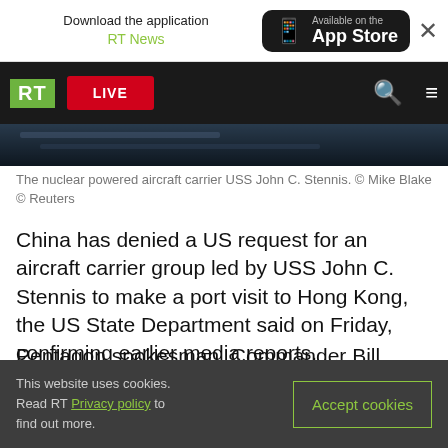Download the application RT News — Available on the App Store
[Figure (screenshot): RT news website navigation bar with RT logo, LIVE button, search and menu icons]
The nuclear powered aircraft carrier USS John C. Stennis. © Mike Blake © Reuters
China has denied a US request for an aircraft carrier group led by USS John C. Stennis to make a port visit to Hong Kong, the US State Department said on Friday, confirming earlier media reports.
Pentagon spokesman, Commander Bill Urban, said another US warship, the USS Blue Ridge, was
This website uses cookies. Read RT Privacy policy to find out more.